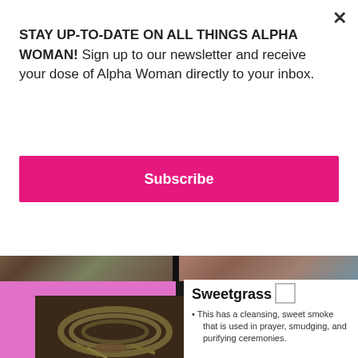STAY UP-TO-DATE ON ALL THINGS ALPHA WOMAN! Sign up to our newsletter and receive your dose of Alpha Woman directly to your inbox.
Subscribe
[Figure (photo): Two photos in a strip: left shows a rocky river scene, right shows a woman with long hair at a beach]
[Figure (photo): Photo of braided sweetgrass bundle on dark soil background]
Sweetgrass
This has a cleansing, sweet smoke that is used in prayer, smudging, and purifying ceremonies.
It is typically braided, dried, and burned at the beginning of a ceremony